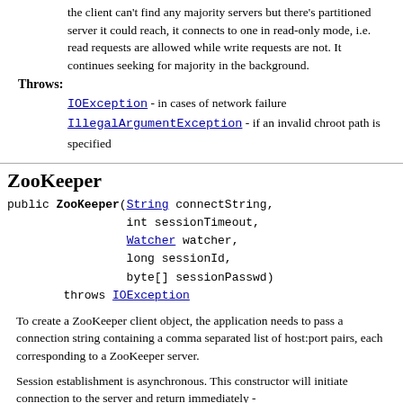the client can't find any majority servers but there's partitioned server it could reach, it connects to one in read-only mode, i.e. read requests are allowed while write requests are not. It continues seeking for majority in the background.
Throws:
IOException - in cases of network failure
IllegalArgumentException - if an invalid chroot path is specified
ZooKeeper
public ZooKeeper(String connectString,
                 int sessionTimeout,
                 Watcher watcher,
                 long sessionId,
                 byte[] sessionPasswd)
        throws IOException
To create a ZooKeeper client object, the application needs to pass a connection string containing a comma separated list of host:port pairs, each corresponding to a ZooKeeper server.
Session establishment is asynchronous. This constructor will initiate connection to the server and return immediately -